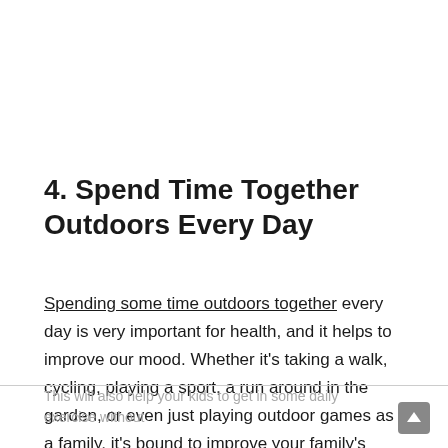4. Spend Time Together Outdoors Every Day
Spending some time outdoors together every day is very important for health, and it helps to improve our mood. Whether it's taking a walk, cycling, playing a sport, a run around in the garden, or even just playing outdoor games as a family, it's bound to improve your family's mental wellbeing and increase their vitamin D intake.
This will also help your kids to get in some daily exercise without